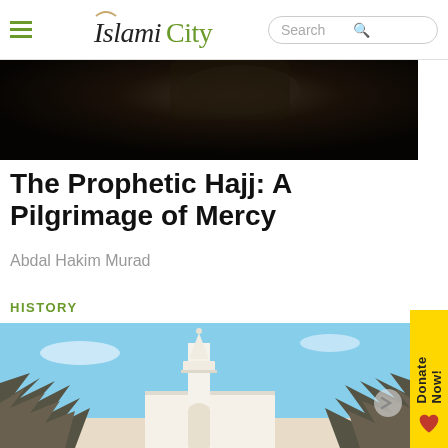IslamiCity — navigation bar with hamburger menu and search
[Figure (photo): Dark background hero image, partial view of a person in dark clothing]
The Prophetic Hajj: A Pilgrimage of Mercy
Abdal Hakim Murad
HISTORY
[Figure (photo): Photo of a white mosque minaret and building with blue sky, framed by rocky walls in foreground]